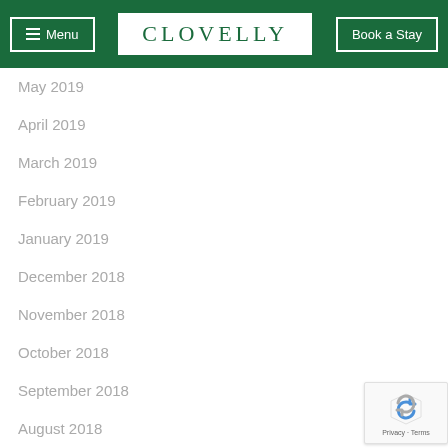Menu | CLOVELLY | Book a Stay
May 2019
April 2019
March 2019
February 2019
January 2019
December 2018
November 2018
October 2018
September 2018
August 2018
July 2018
June 2018
May 2018